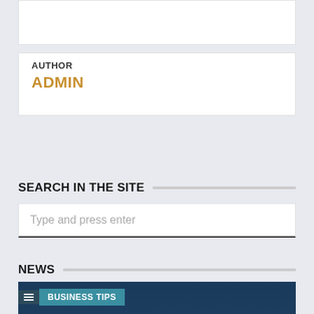[Figure (other): White box at top of page, partially visible]
AUTHOR
ADMIN
SEARCH IN THE SITE
Type and press enter
NEWS
[Figure (photo): Photo of people with arms raised against a dark blue sky background, with BUSINESS TIPS badge overlay]